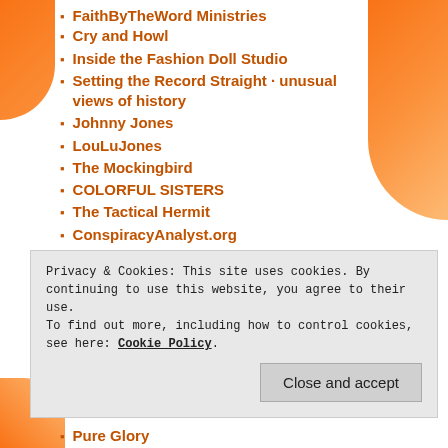FaithByTheWord Ministries
Cry and Howl
Inside the Fashion Doll Studio
Setting the Record Straight - unusual views of history
Johnny Jones
LouLuJones
The Mockingbird
COLORFUL SISTERS
The Tactical Hermit
ConspiracyAnalyst.org
Cricket Vikas
marina's muses
Uniquely Yours
Conflict Resolution
Privacy & Cookies: This site uses cookies. By continuing to use this website, you agree to their use.
To find out more, including how to control cookies, see here: Cookie Policy
Pure Glory